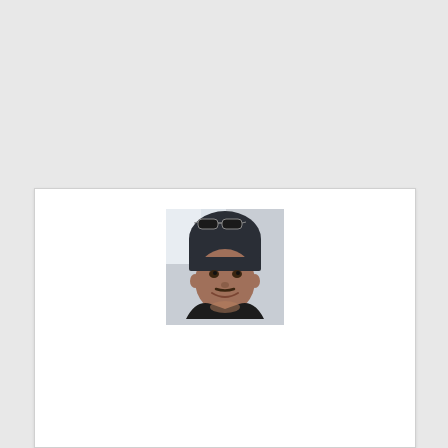[Figure (photo): Profile photo of a man wearing a dark beanie hat with sunglasses on top, smiling, wearing a dark jacket, photo taken at an angle from below]
Mahmoud Algoul